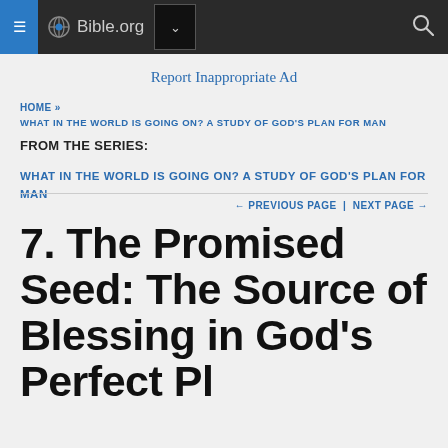Bible.org
Report Inappropriate Ad
HOME » WHAT IN THE WORLD IS GOING ON? A STUDY OF GOD'S PLAN FOR MAN
FROM THE SERIES:
WHAT IN THE WORLD IS GOING ON? A STUDY OF GOD'S PLAN FOR MAN
← PREVIOUS PAGE | NEXT PAGE →
7. The Promised Seed: The Source of Blessing in God's Perfect Pl...